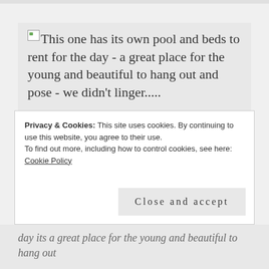[Figure (photo): Broken image placeholder with caption text: This one has its own pool and beds to rent for the day - a great place for the young and beautiful to hang out and pose - we didn't linger.....]
Privacy & Cookies: This site uses cookies. By continuing to use this website, you agree to their use.
To find out more, including how to control cookies, see here: Cookie Policy
day its a great place for the young and beautiful to hang out